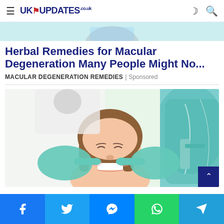≡ UK UPDATES | Herbal Remedies for Macular Degeneration Many People Might No...
[Figure (photo): Top partial banner image showing a person with teal/cyan background]
Herbal Remedies for Macular Degeneration Many People Might No...
Macular Degeneration Remedies | Sponsored
[Figure (photo): A smiling young woman in a dental chair being examined by a dentist wearing teal gloves, with dental equipment visible in the background]